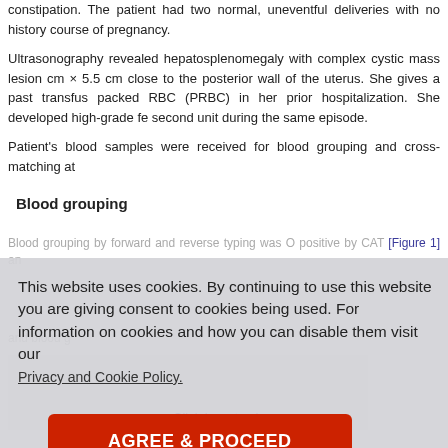constipation. The patient had two normal, uneventful deliveries with no history course of pregnancy.
Ultrasonography revealed hepatosplenomegaly with complex cystic mass lesion cm × 5.5 cm close to the posterior wall of the uterus. She gives a past transfus packed RBC (PRBC) in her prior hospitalization. She developed high-grade fe second unit during the same episode.
Patient's blood samples were received for blood grouping and cross-matching at
Blood grouping
Blood grouping by forward and reverse typing was O positive by CAT [Figure 1] and blood g
Table 1: Blood grouping of repeat sample
Click here to view